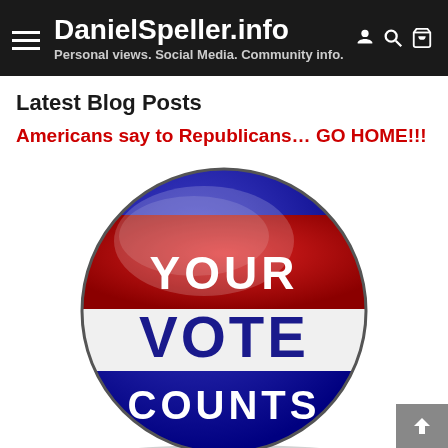DanielSpeller.info — Personal views. Social Media. Community info.
Latest Blog Posts
Americans say to Republicans… GO HOME!!!
[Figure (illustration): A patriotic voting button/badge with red, white, and blue sections. White text on red reads 'YOUR', dark blue bold text on white reads 'VOTE', and white text on dark blue reads 'COUNTS'. The button has a glossy 3D appearance.]